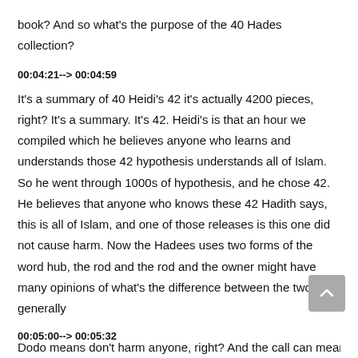book? And so what's the purpose of the 40 Hades collection?
00:04:21--> 00:04:59
It's a summary of 40 Heidi's 42 it's actually 4200 pieces, right? It's a summary. It's 42. Heidi's is that an hour we compiled which he believes anyone who learns and understands those 42 hypothesis understands all of Islam. So he went through 1000s of hypothesis, and he chose 42. He believes that anyone who knows these 42 Hadith says, this is all of Islam, and one of those releases is this one did not cause harm. Now the Hadees uses two forms of the word hub, the rod and the rod and the owner might have many opinions of what's the difference between the two generally
00:05:00--> 00:05:32
Dodo means don't harm anyone, right? And the call can mean